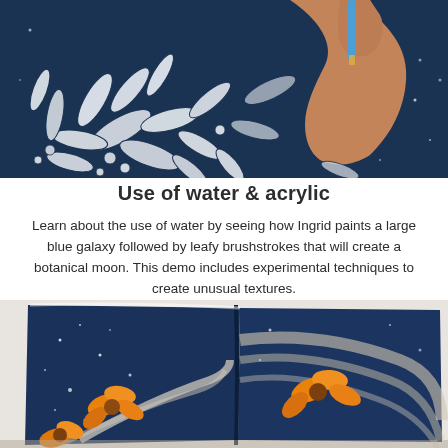[Figure (photo): Close-up photo of a hand painting a botanical moon with white leafy brushstrokes on a dark navy blue background, holding a blue brush]
Use of water & acrylic
Learn about the use of water by seeing how Ingrid paints a large blue galaxy followed by leafy brushstrokes that will create a botanical moon. This demo includes experimental techniques to create unusual textures.
[Figure (photo): Open book or sketchbook showing a painting with orange/golden flowers and swirling brushstrokes on a dark navy blue background with white speckles resembling stars]